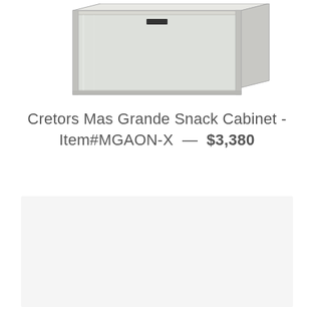[Figure (photo): Cretors Mas Grande Snack Cabinet product photo showing a light gray glass-front display cabinet, viewed from a slight angle above, with a small black control panel visible on the front.]
Cretors Mas Grande Snack Cabinet - Item#MGAON-X — $3,380
[Figure (photo): Lower gray placeholder/image area, appears to be a large light gray rectangle, possibly a second product image area or empty content box.]